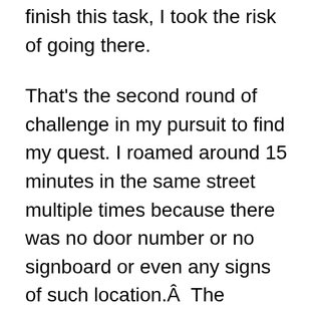finish this task, I took the risk of going there.
That's the second round of challenge in my pursuit to find my quest. I roamed around 15 minutes in the same street multiple times because there was no door number or no signboard or even any signs of such location.Â  The neighborhood has no idea about something like that. After doing my math (Counting the door no using Odd and Even formula) and trying to figure out the exact door no, I ended up in a place that looks more like a residential apartment than an office. I opened up a metal gate like a stranger who has no